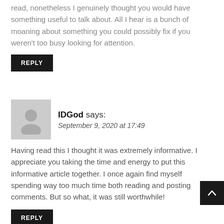read, nonetheless I genuinely thought you would have something useful to talk about. All I hear is a bunch of moaning about something you could possibly fix if you weren't too busy looking for attention.
REPLY
IDGod says:
September 9, 2020 at 17:49
Having read this I thought it was extremely informative. I appreciate you taking the time and energy to put this informative article together. I once again find myself spending way too much time both reading and posting comments. But so what, it was still worthwhile!
REPLY